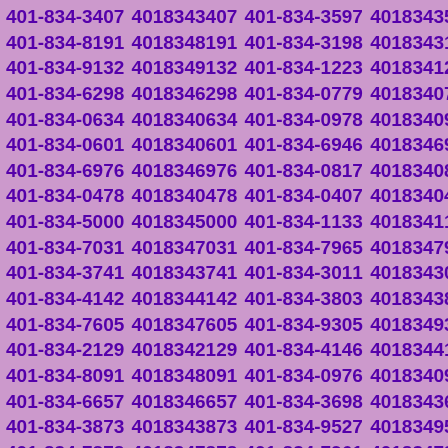401-834-3407 4018343407 401-834-3597 4018343597 401-834-8191 4018348191 401-834-3198 4018343198 401-834-9132 4018349132 401-834-1223 4018341223 401-834-6298 4018346298 401-834-0779 4018340779 401-834-0634 4018340634 401-834-0978 4018340978 401-834-0601 4018340601 401-834-6946 4018346946 401-834-6976 4018346976 401-834-0817 4018340817 401-834-0478 4018340478 401-834-0407 4018340407 401-834-5000 4018345000 401-834-1133 4018341133 401-834-7031 4018347031 401-834-7965 4018347965 401-834-3741 4018343741 401-834-3011 4018343011 401-834-4142 4018344142 401-834-3803 4018343803 401-834-7605 4018347605 401-834-9305 4018349305 401-834-2129 4018342129 401-834-4146 4018344146 401-834-8091 4018348091 401-834-0976 4018340976 401-834-6657 4018346657 401-834-3698 4018343698 401-834-3873 4018343873 401-834-9527 4018349527 401-834-7878 4018347878 401-834-7961 4018347961 401-834-4436 4018344436 401-834-5129 4018345129 401-834-2006 4018342006 401-834-8983 4018348983 401-834-9896 4018349896 401-834-1595 4018341595